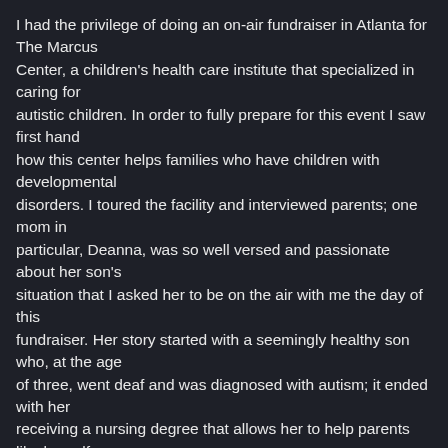I had the privilege of doing an on-air fundraiser in Atlanta for The Marcus Center, a children's health care institute that specialized in caring for autistic children. In order to fully prepare for this event I saw first hand how this center helps families who have children with developmental disorders. I toured the facility and interviewed parents; one mom in particular, Deanna, was so well versed and passionate about her son's situation that I asked her to be on the air with me the day of this fundraiser. Her story started with a seemingly healthy son who, at the age of three, went deaf and was diagnosed with autism; it ended with her receiving a nursing degree that allows her to help parents like herself.

While I was on the air doing this show David Santrella, President of the